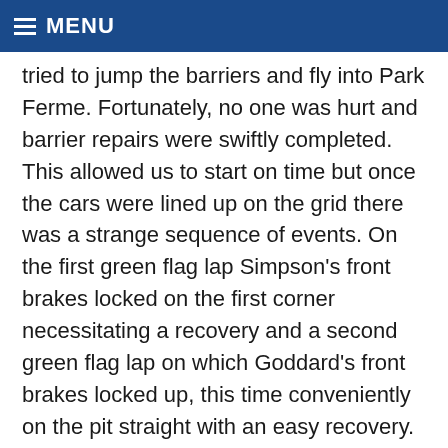MENU
tried to jump the barriers and fly into Park Ferme. Fortunately, no one was hurt and barrier repairs were swiftly completed. This allowed us to start on time but once the cars were lined up on the grid there was a strange sequence of events. On the first green flag lap Simpson's front brakes locked on the first corner necessitating a recovery and a second green flag lap on which Goddard's front brakes locked up, this time conveniently on the pit straight with an easy recovery. On the third green flag lap Marr's front brakes locked up out on the circuit. This was not quick as recovery trucks were by now in short supply and